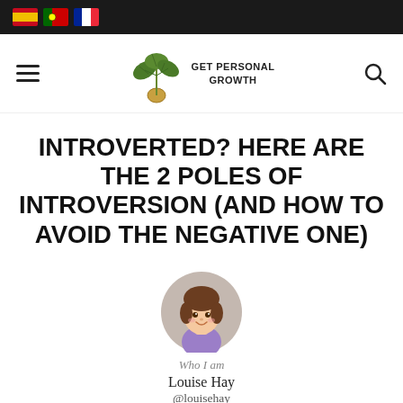Navigation bar with flag icons (Spain, Portugal, France), hamburger menu, Get Personal Growth logo, search icon
INTROVERTED? HERE ARE THE 2 POLES OF INTROVERSION (AND HOW TO AVOID THE NEGATIVE ONE)
[Figure (illustration): Circular avatar illustration of a girl with brown hair and purple top, cartoon style]
Who I am
Louise Hay
@louisehay